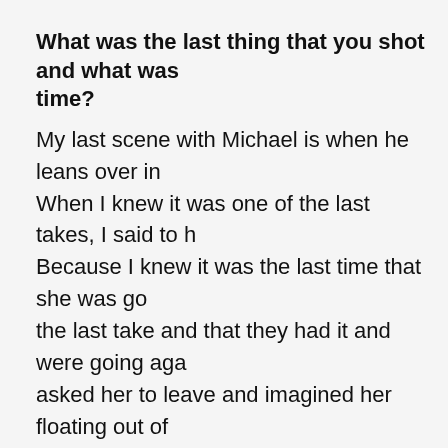What was the last thing that you shot and what was time?
My last scene with Michael is when he leans over in When I knew it was one of the last takes, I said to h Because I knew it was the last time that she was go the last take and that they had it and were going aga asked her to leave and imagined her floating out of soundstage and far away. It was like an eight-year m
What will you miss about playing Deb?
I'll miss the fear of playing Deb, getting the script g we do it?" Everyone kept saying Dexter was my first producers stressed that it doesn't always happen th they meant until I go somewhere and an actor does